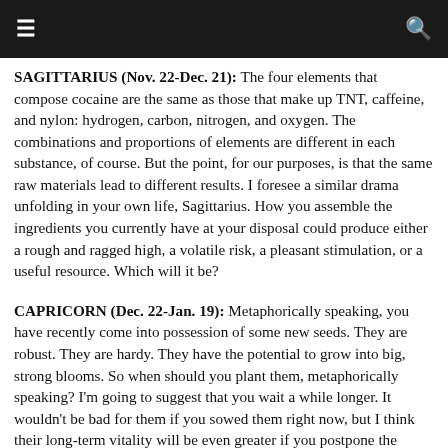≡  🔍
SAGITTARIUS (Nov. 22-Dec. 21): The four elements that compose cocaine are the same as those that make up TNT, caffeine, and nylon: hydrogen, carbon, nitrogen, and oxygen. The combinations and proportions of elements are different in each substance, of course. But the point, for our purposes, is that the same raw materials lead to different results. I foresee a similar drama unfolding in your own life, Sagittarius. How you assemble the ingredients you currently have at your disposal could produce either a rough and ragged high, a volatile risk, a pleasant stimulation, or a useful resource. Which will it be?
CAPRICORN (Dec. 22-Jan. 19): Metaphorically speaking, you have recently come into possession of some new seeds. They are robust. They are hardy. They have the potential to grow into big, strong blooms. So when should you plant them, metaphorically speaking? I'm going to suggest that you wait a while longer. It wouldn't be bad for them if you sowed them right now, but I think their long-term vitality will be even greater if you postpone the planting for at least a week. Two weeks might be better. Trust your intuition.